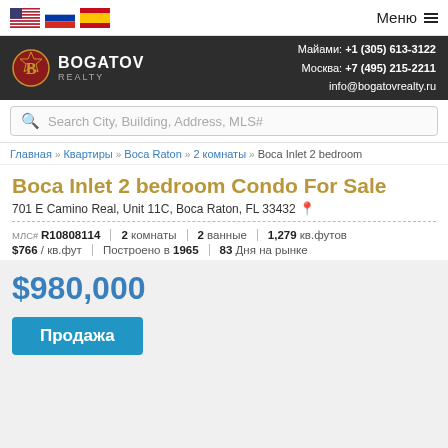Flags: US, RU, ES | Меню ≡
[Figure (logo): Bogatov Realty logo with crest icon, white text on dark background. Contact: Майами: +1 (305) 613-3122, Москва: +7 (495) 215-2211, info@bogatovrealty.ru]
Search City, Building, Address, MLS#
Главная » Квартиры » Boca Raton » 2 комнаты » Boca Inlet 2 bedroom
Boca Inlet 2 bedroom Condo For Sale
701 E Camino Real, Unit 11C, Boca Raton, FL 33432
| МЛС# R10808114 | 2 комнаты | 2 ванные | 1,279 кв.футов |
| $766 / кв.фут | Построено в 1965 | 83 Дня на рынке |  |
$980,000
Продажа